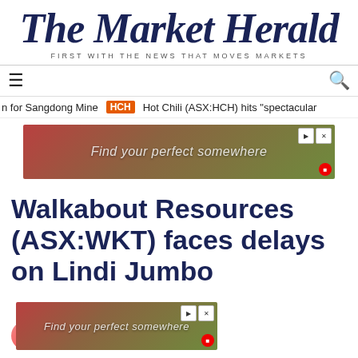The Market Herald — FIRST WITH THE NEWS THAT MOVES MARKETS
n for Sangdong Mine  HCH  Hot Chili (ASX:HCH) hits "spectacular
[Figure (photo): Advertisement banner: 'Find your perfect somewhere' with outdoor/nature imagery]
Walkabout Resources (ASX:WKT) faces delays on Lindi Jumbo
ASX News, Materials
ASX:WKT   MCAP $x.xM
[Figure (photo): Second advertisement banner: 'Find your perfect somewhere' with outdoor/nature imagery]